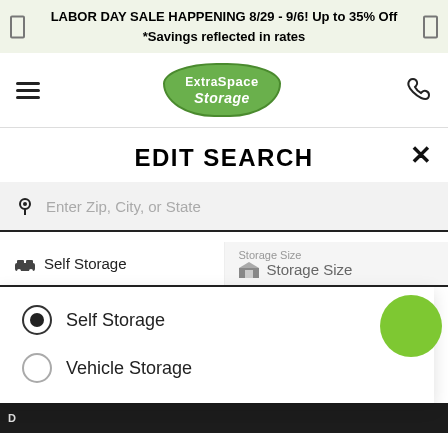LABOR DAY SALE HAPPENING 8/29 - 9/6! Up to 35% Off *Savings reflected in rates
[Figure (logo): Extra Space Storage logo badge in green]
EDIT SEARCH
Enter Zip, City, or State
Self Storage | Storage Size / Storage Size
Self Storage (selected radio button)
Vehicle Storage (unselected radio button)
5  (629 REVIEWS)